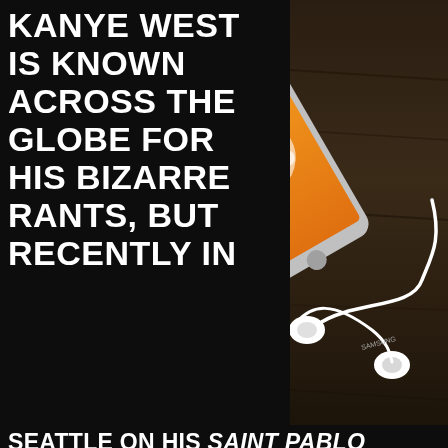KANYE WEST IS KNOWN ACROSS THE GLOBE FOR HIS BIZARRE RANTS, BUT RECENTLY IN
[Figure (photo): Smartphone with orange music app screen lying on dark wooden surface with white earbuds/headphones coiled beside it]
SEATTLE ON HIS SAINT PABLO TOUR, IT WAS ALL ABOUT HIS VISION FOR THE FUTURE OF MUSIC. KANYE MADE SURE TO LET HIS AUDIENCE KNOW EXACTLY WHY THERE WON'T BE ANOTHER WATCH THE THRONE ALBUM WITH JAY Z, AND HE BLAMES IT ON THE APPLE/TIDAL RIVALRY. HE ALSO BLAMES THE BEEF AS...
Advertisements